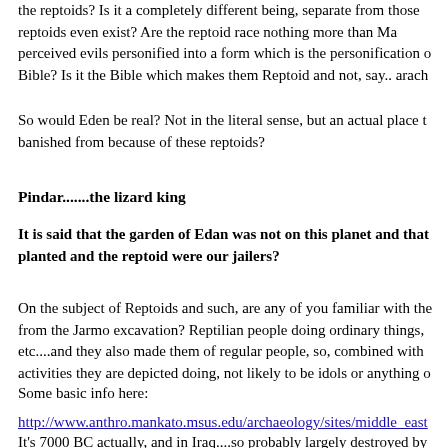the reptoids? Is it a completely different being, separate from those reptoids even exist? Are the reptoid race nothing more than Ma perceived evils personified into a form which is the personification o Bible? Is it the Bible which makes them Reptoid and not, say.. arach
So would Eden be real? Not in the literal sense, but an actual place t banished from because of these reptoids?
Pindar.......the lizard king
It is said that the garden of Edan was not on this planet and that planted and the reptoid were our jailers?
On the subject of Reptoids and such, are any of you familiar with the from the Jarmo excavation? Reptilian people doing ordinary things, etc....and they also made them of regular people, so, combined with activities they are depicted doing, not likely to be idols or anything o
Some basic info here:
http://www.anthro.mankato.msus.edu/archaeology/sites/middle_east
It's 7000 BC actually, and in Iraq....so probably largely destroyed by